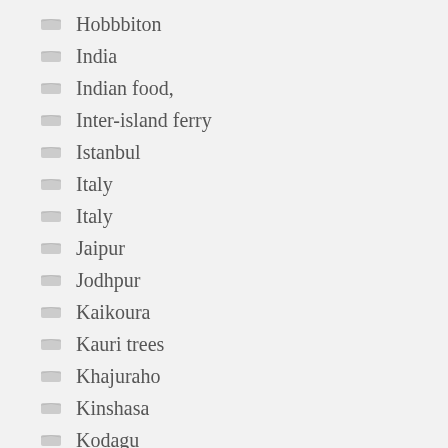Hobbbiton
India
Indian food,
Inter-island ferry
Istanbul
Italy
Italy
Jaipur
Jodhpur
Kaikoura
Kauri trees
Khajuraho
Kinshasa
Kodagu